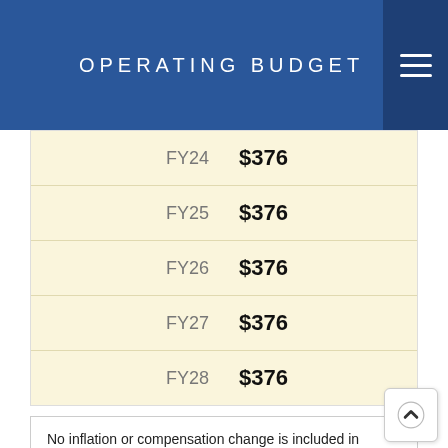OPERATING BUDGET
| Year | Amount |
| --- | --- |
| FY24 | $376 |
| FY25 | $376 |
| FY26 | $376 |
| FY27 | $376 |
| FY28 | $376 |
No inflation or compensation change is included in outyear projections.
Labor Contracts
| Year | Amount |
| --- | --- |
| FY23 | $0 |